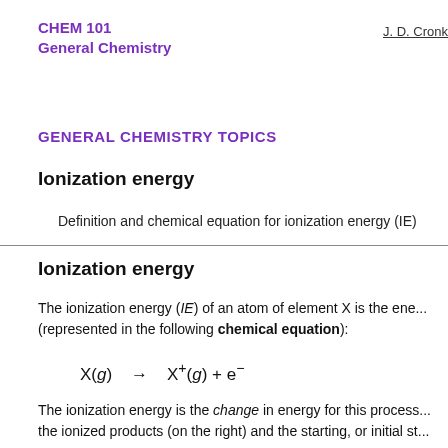CHEM 101
General Chemistry
J. D. Cronk
GENERAL CHEMISTRY TOPICS
Ionization energy
Definition and chemical equation for ionization energy (IE)
Ionization energy
The ionization energy (IE) of an atom of element X is the ene... (represented in the following chemical equation):
The ionization energy is the change in energy for this process... the ionized products (on the right) and the starting, or initial st...